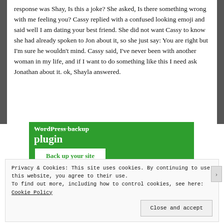response was Shay, Is this a joke? She asked, Is there something wrong with me feeling you? Cassy replied with a confused looking emoji and said well I am dating your best friend. She did not want Cassy to know she had already spoken to Jon about it, so she just say: You are right but I'm sure he wouldn't mind. Cassy said, I've never been with another woman in my life, and if I want to do something like this I need ask Jonathan about it. ok, Shayla answered.
[Figure (screenshot): Green advertisement banner for a WordPress backup plugin with text 'WordP ress backup plugin' and a white button reading 'Back up your site']
Privacy & Cookies: This site uses cookies. By continuing to use this website, you agree to their use.
To find out more, including how to control cookies, see here: Cookie Policy
Close and accept